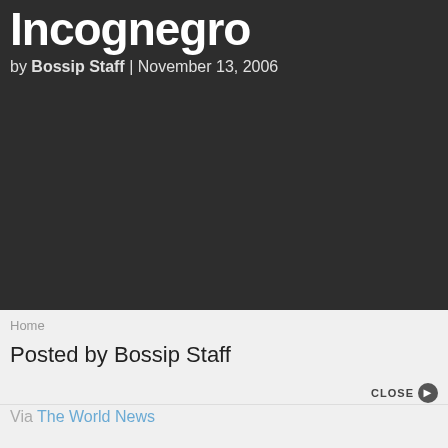Incognegro
by Bossip Staff | November 13, 2006
Home
Posted by Bossip Staff
CLOSE
Via The World News